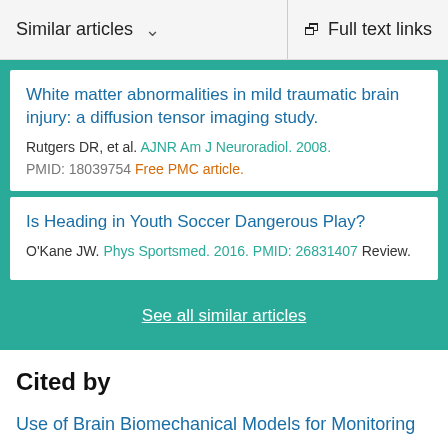Similar articles  ∨   Full text links
White matter abnormalities in mild traumatic brain injury: a diffusion tensor imaging study.
Rutgers DR, et al. AJNR Am J Neuroradiol. 2008.
PMID: 18039754 Free PMC article.
Is Heading in Youth Soccer Dangerous Play?
O'Kane JW. Phys Sportsmed. 2016. PMID: 26831407 Review.
See all similar articles
Cited by
Use of Brain Biomechanical Models for Monitoring